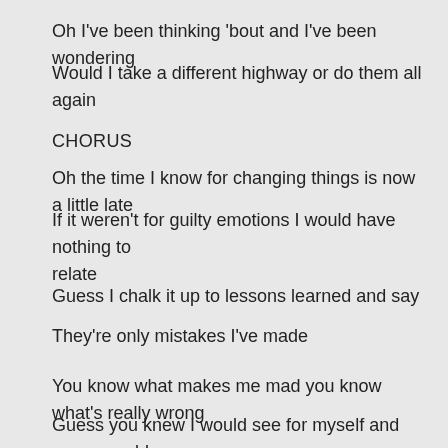Oh I've been thinking 'bout and I've been wondering
Would I take a different highway or do them all again
CHORUS
Oh the time I know for changing things is now a little late
If it weren't for guilty emotions I would have nothing to relate
Guess I chalk it up to lessons learned and say
They're only mistakes I've made
You know what makes me mad you know what's really wrong
I just never noticed I'd taken you along
And it's funny how you never said a word
Guess you knew I would see for myself and never would have heard